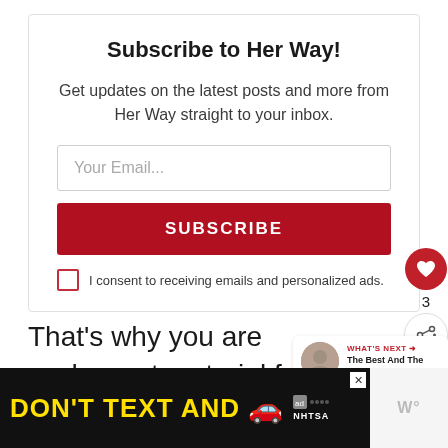Subscribe to Her Way!
Get updates on the latest posts and more from Her Way straight to your inbox.
Your Email...
SUBSCRIBE
I consent to receiving emails and personalized ads.
That’s why you are such great material for a partner.
[Figure (screenshot): WHAT'S NEXT arrow widget showing 'The Best And The Worst...' with a circular thumbnail photo]
[Figure (infographic): DON'T TEXT AND [car emoji] advertisement banner for NHTSA with yellow and cyan text on black background]